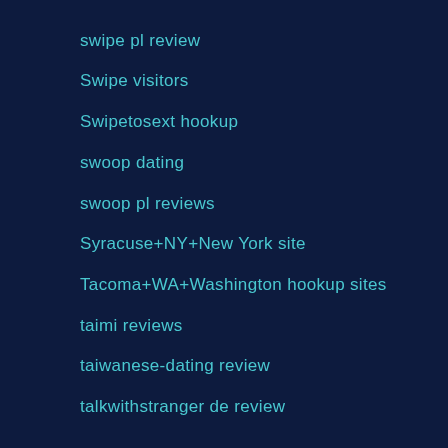swipe pl review
Swipe visitors
Swipetosext hookup
swoop dating
swoop pl reviews
Syracuse+NY+New York site
Tacoma+WA+Washington hookup sites
taimi reviews
taiwanese-dating review
talkwithstranger de review